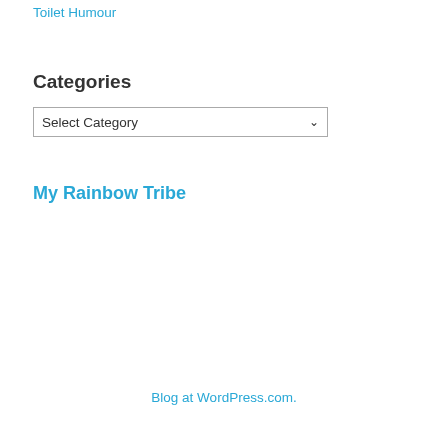Toilet Humour
Categories
Select Category
My Rainbow Tribe
Blog at WordPress.com.